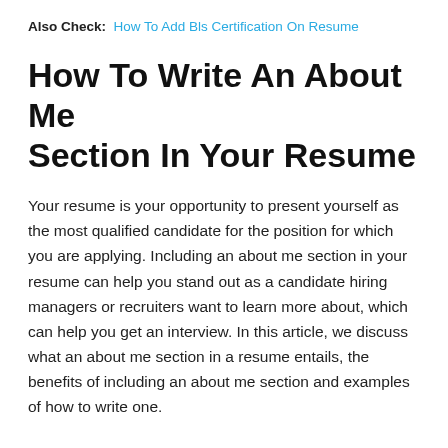Also Check:  How To Add Bls Certification On Resume
How To Write An About Me Section In Your Resume
Your resume is your opportunity to present yourself as the most qualified candidate for the position for which you are applying. Including an about me section in your resume can help you stand out as a candidate hiring managers or recruiters want to learn more about, which can help you get an interview. In this article, we discuss what an about me section in a resume entails, the benefits of including an about me section and examples of how to write one.
Words To Describe Yourself